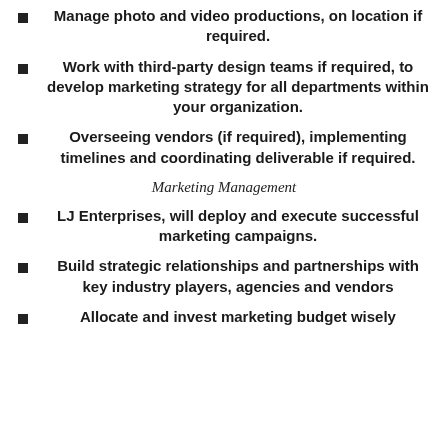Manage photo and video productions, on location if required.
Work with third-party design teams if required, to develop marketing strategy for all departments within your organization.
Overseeing vendors (if required), implementing timelines and coordinating deliverable if required.
Marketing Management
LJ Enterprises, will deploy and execute successful marketing campaigns.
Build strategic relationships and partnerships with key industry players, agencies and vendors
Allocate and invest marketing budget wisely